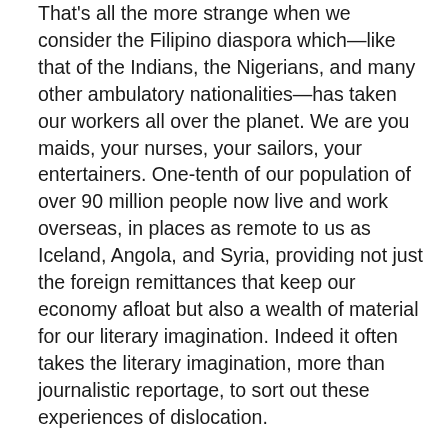That's all the more strange when we consider the Filipino diaspora which—like that of the Indians, the Nigerians, and many other ambulatory nationalities—has taken our workers all over the planet. We are you maids, your nurses, your sailors, your entertainers. One-tenth of our population of over 90 million people now live and work overseas, in places as remote to us as Iceland, Angola, and Syria, providing not just the foreign remittances that keep our economy afloat but also a wealth of material for our literary imagination. Indeed it often takes the literary imagination, more than journalistic reportage, to sort out these experiences of dislocation.
But why even go abroad for alienation? If there's anything colonialism does to the colonized, it's to leave behind two states of mind, often manifested in two or more predominant languages, one of which represents the